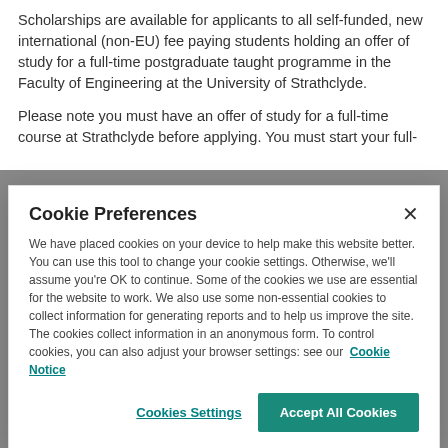Scholarships are available for applicants to all self-funded, new international (non-EU) fee paying students holding an offer of study for a full-time postgraduate taught programme in the Faculty of Engineering at the University of Strathclyde.
Please note you must have an offer of study for a full-time course at Strathclyde before applying. You must start your full-
Cookie Preferences
We have placed cookies on your device to help make this website better. You can use this tool to change your cookie settings. Otherwise, we'll assume you're OK to continue. Some of the cookies we use are essential for the website to work. We also use some non-essential cookies to collect information for generating reports and to help us improve the site. The cookies collect information in an anonymous form. To control cookies, you can also adjust your browser settings: see our Cookie Notice
Cookies Settings
Accept All Cookies